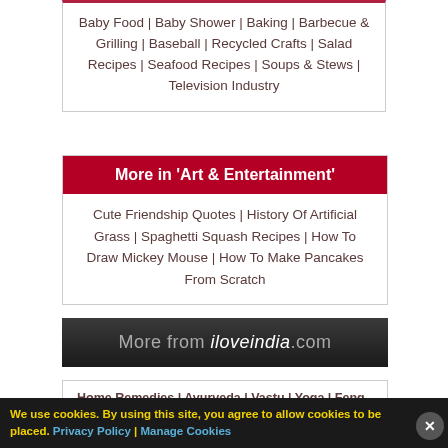Baby Food | Baby Shower | Baking | Barbecue & Grilling | Baseball | Recycled Crafts | Salad Recipes | Seafood Recipes | Soups & Stews | Television Industry
More in 'Art & Entertainment'
Cute Friendship Quotes | History Of Artificial Grass | Spaghetti Squash Recipes | How To Draw Mickey Mouse | How To Make Pancakes From Scratch
More from iloveindia.com
Home Remedies | Ayurveda | Vastu | Yoga | Feng Shui | Tattoos
We use cookies. By using this site, you agree to allow cookies to be placed. Privacy Policy | Manage Cookies